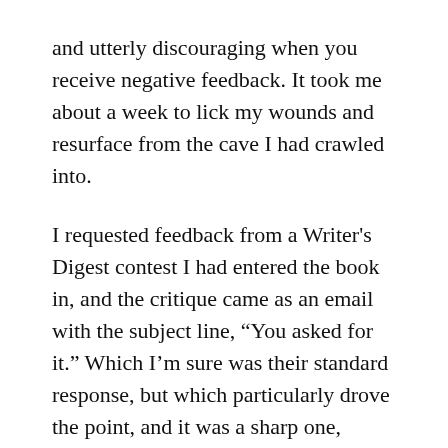and utterly discouraging when you receive negative feedback. It took me about a week to lick my wounds and resurface from the cave I had crawled into.
I requested feedback from a Writer's Digest contest I had entered the book in, and the critique came as an email with the subject line, “You asked for it.” Which I’m sure was their standard response, but which particularly drove the point, and it was a sharp one,  home.
The reader clearly didn’t like the book, and after reading the comments, I suspected he or she hadn’t read very far into it. The critique quoted a particularly benign sentence from